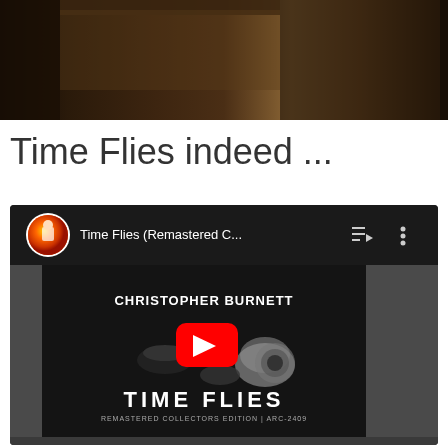[Figure (photo): Dark photograph showing a wooden bookshelf or interior scene with dark brown tones]
Time Flies indeed ...
[Figure (screenshot): YouTube video embed showing 'Time Flies (Remastered C...' by Christopher Burnett, with album art showing dark background with camera parts, text 'CHRISTOPHER BURNETT', 'TIME FLIES', 'REMASTERED COLLECTORS EDITION | ARC-2409', and a red YouTube play button in center]